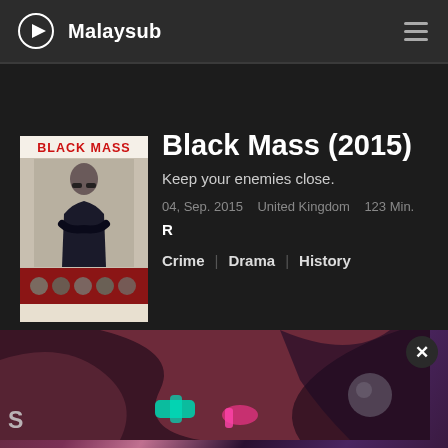Malaysub
[Figure (screenshot): Movie detail page for Black Mass (2015) showing poster image, title, tagline, metadata, and genre tags on a dark background app interface]
Black Mass (2015)
Keep your enemies close.
04, Sep. 2015   United Kingdom   123 Min.
R
Crime | Drama | History
[Figure (photo): Advertisement banner image with colorful animated/graphic content at the bottom of the screen with a close (X) button]